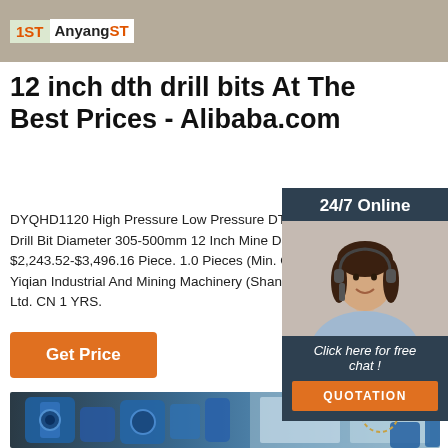[Figure (logo): AnyangST logo banner with orange ST letters on light background]
12 inch dth drill bits At The Best Prices - Alibaba.com
DYQHD1120 High Pressure Low Pressure DTH Drill Bit Diameter 305-500mm 12 Inch Mine Dr $2,243.52-$3,496.16 Piece. 1.0 Pieces (Min. C Yiqian Industrial And Mining Machinery (Shang Ltd. CN 1 YRS.
[Figure (photo): Customer service agent woman with headset, 24/7 Online sidebar widget with QUOTATION button]
[Figure (photo): Blue industrial DTH drill equipment machinery photo at bottom]